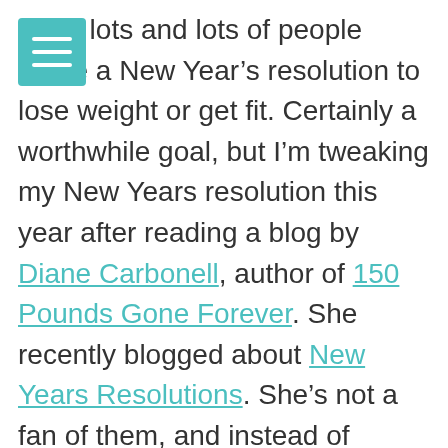"I bet lots and lots of people made a New Year's resolution to lose weight or get fit. Certainly a worthwhile goal, but I'm tweaking my New Years resolution this year after reading a blog by Diane Carbonell, author of 150 Pounds Gone Forever. She recently blogged about New Years Resolutions. She's not a fan of them, and instead of making one, she suggests